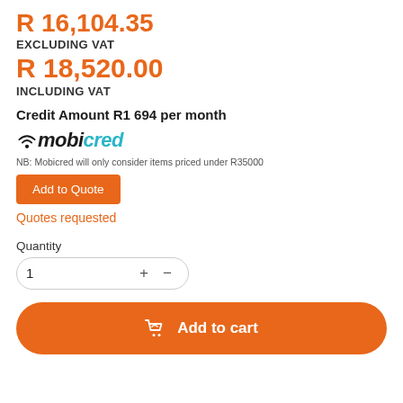R 16,104.35
EXCLUDING VAT
R 18,520.00
INCLUDING VAT
Credit Amount R1 694 per month
[Figure (logo): Mobicred logo with wifi icon, 'mobi' in black italic bold and 'cred' in teal italic bold]
NB: Mobicred will only consider items priced under R35000
Add to Quote
Quotes requested
Quantity
1
Add to cart